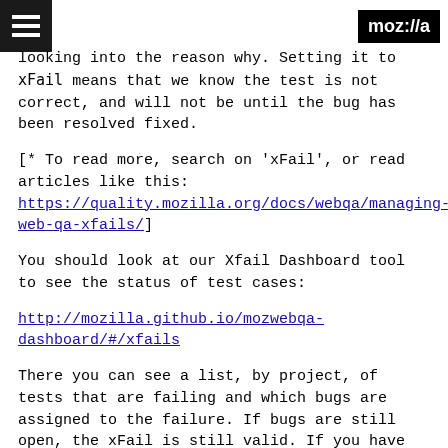moz://a
looking into the reason why. Setting it to `xFail` means that we know the test is not correct, and will not be until the bug has been resolved fixed.
[* To read more, search on 'xFail', or read articles like this: https://quality.mozilla.org/docs/webqa/managing-web-qa-xfails/]
You should look at our Xfail Dashboard tool to see the status of test cases:
http://mozilla.github.io/mozwebqa-dashboard/#/xfails
There you can see a list, by project, of tests that are failing and which bugs are assigned to the failure. If bugs are still open, the xFail is still valid. If you have questions regarding your specific test results, please contact us!